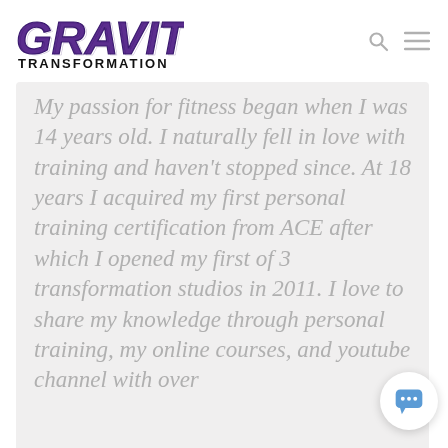[Figure (logo): Gravity Transformation logo — stylized purple and black text with GRAVITY in large purple 3D block letters and TRANSFORMATION in smaller black text below]
My passion for fitness began when I was 14 years old. I naturally fell in love with training and haven't stopped since. At 18 years I acquired my first personal training certification from ACE after which I opened my first of 3 transformation studios in 2011. I love to share my knowledge through personal training, my online courses, and youtube channel with over...